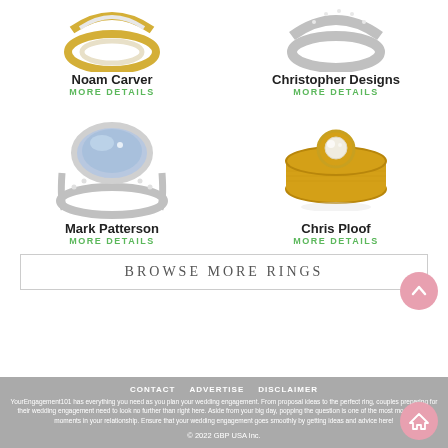[Figure (photo): Noam Carver ring - silver/gold twisted band ring at top left, partially cropped]
Noam Carver
MORE DETAILS
[Figure (photo): Christopher Designs ring - pavé diamond band ring at top right, partially cropped]
Christopher Designs
MORE DETAILS
[Figure (photo): Mark Patterson ring - oval bezel set light blue stone with pavé band, silver]
Mark Patterson
MORE DETAILS
[Figure (photo): Chris Ploof ring - gold band with bezel set round diamond solitaire]
Chris Ploof
MORE DETAILS
BROWSE MORE RINGS
CONTACT   ADVERTISE   DISCLAIMER
YourEngagement101 has everything you need as you plan your wedding engagement. From proposal ideas to the perfect ring, couples preparing for their wedding engagement need to look no further than right here. Aside from your big day, popping the question is one of the most monumental moments in your relationship. Ensure that your wedding engagement goes smoothly by getting ideas and advice here!
© 2022 GBP USA Inc.